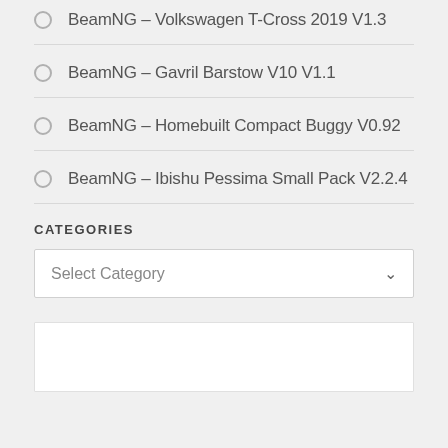BeamNG – Volkswagen T-Cross 2019 V1.3
BeamNG – Gavril Barstow V10 V1.1
BeamNG – Homebuilt Compact Buggy V0.92
BeamNG – Ibishu Pessima Small Pack V2.2.4
CATEGORIES
Select Category